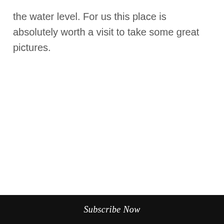the water level. For us this place is absolutely worth a visit to take some great pictures.
Subscribe Now